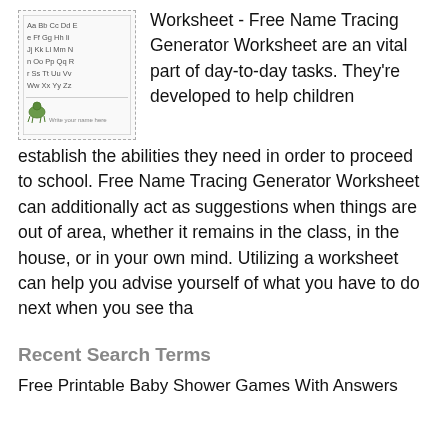[Figure (illustration): A worksheet image showing alphabet letters Aa Bb Cc Dd Ee Ff Gg Hh Ii Jj Kk Ll Mm Nn Oo Pp Qq Rr Ss Tt Uu Vv Ww Xx Yy Zz in a bordered box with a small turtle/animal icon at the bottom]
Worksheet - Free Name Tracing Generator Worksheet are an vital part of day-to-day tasks. They're developed to help children establish the abilities they need in order to proceed to school. Free Name Tracing Generator Worksheet can additionally act as suggestions when things are out of area, whether it remains in the class, in the house, or in your own mind. Utilizing a worksheet can help you advise yourself of what you have to do next when you see tha
Recent Search Terms
Free Printable Baby Shower Games With Answers